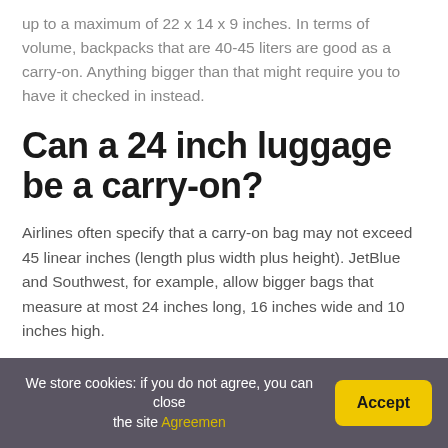up to a maximum of 22 x 14 x 9 inches. In terms of volume, backpacks that are 40-45 liters are good as a carry-on. Anything bigger than that might require you to have it checked in instead.
Can a 24 inch luggage be a carry-on?
Airlines often specify that a carry-on bag may not exceed 45 linear inches (length plus width plus height). JetBlue and Southwest, for example, allow bigger bags that measure at most 24 inches long, 16 inches wide and 10 inches high.
We store cookies: if you do not agree, you can close the site Agreemen  Accept